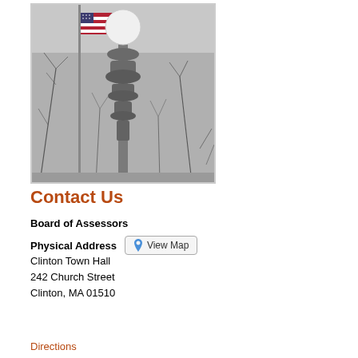[Figure (photo): Black and white photograph of an ornate lamp post with a globe light on top, an American flag visible to the left, and bare winter trees in the background at Clinton Town Hall.]
Contact Us
Board of Assessors
Physical Address  View Map
Clinton Town Hall
242 Church Street
Clinton, MA 01510
Directions